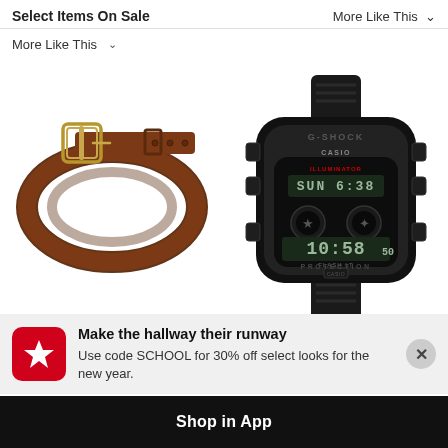Select Items On Sale
More Like This
[Figure (photo): Brown leather belt coiled up with a gold buckle]
[Figure (photo): Casio G-SHOCK black digital watch showing SUN 6:38 and 10:58:50, G-SHOCK PROTECTION branding]
Make the hallway their runway
Use code SCHOOL for 30% off select looks for the new year.
Shop in App